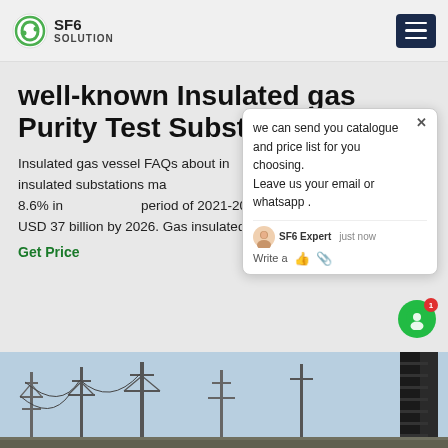SF6 SOLUTION
well-known Insulated gas Purity Test Substation
Insulated gas vessel FAQs about insulated gas the global gas insulated substations market is expected to grow at a CAGR of about 8.6% in the forecast period of 2021-2026 to reach a value of about USD 37 billion by 2026. Gas insulated substations
Get Price
[Figure (screenshot): Chat popup overlay showing message: 'we can send you catalogue and price list for you choosing. Leave us your email or whatsapp.' with SF6 Expert agent, just now timestamp, and write/emoji input area]
[Figure (photo): Bottom portion of page showing electrical substation towers and high-voltage cables against a light blue sky background]